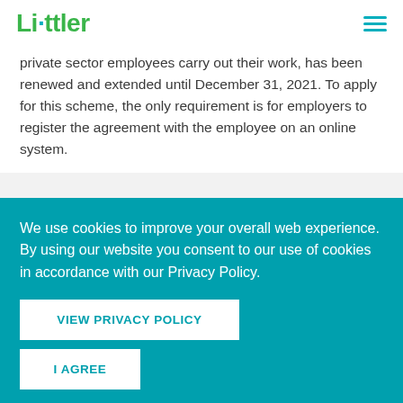Littler
private sector employees carry out their work, has been renewed and extended until December 31, 2021. To apply for this scheme, the only requirement is for employers to register the agreement with the employee on an online system.
Get the Latest From Littler
We use cookies to improve your overall web experience. By using our website you consent to our use of cookies in accordance with our Privacy Policy.
VIEW PRIVACY POLICY
I AGREE